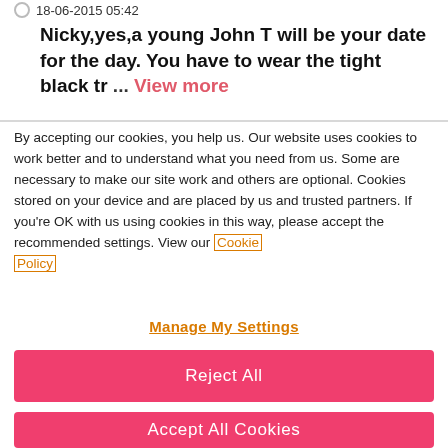18-06-2015 05:42
Nicky,yes,a young John T will be your date for the day. You have to wear the tight black tr ... View more
By accepting our cookies, you help us. Our website uses cookies to work better and to understand what you need from us. Some are necessary to make our site work and others are optional. Cookies stored on your device and are placed by us and trusted partners. If you're OK with us using cookies in this way, please accept the recommended settings. View our Cookie Policy
Manage My Settings
Reject All
Accept All Cookies